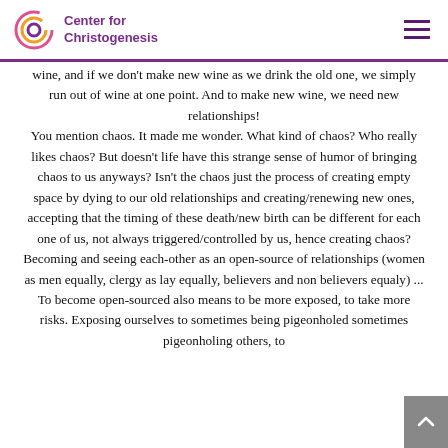Center for Christogenesis
wine, and if we don't make new wine as we drink the old one, we simply run out of wine at one point. And to make new wine, we need new relationships! You mention chaos. It made me wonder. What kind of chaos? Who really likes chaos? But doesn't life have this strange sense of humor of bringing chaos to us anyways? Isn't the chaos just the process of creating empty space by dying to our old relationships and creating/renewing new ones, accepting that the timing of these death/new birth can be different for each one of us, not always triggered/controlled by us, hence creating chaos? Becoming and seeing each-other as an open-source of relationships (women as men equally, clergy as lay equally, believers and non believers equaly) ... To become open-sourced also means to be more exposed, to take more risks. Exposing ourselves to sometimes being pigeonholed sometimes pigeonholing others, to